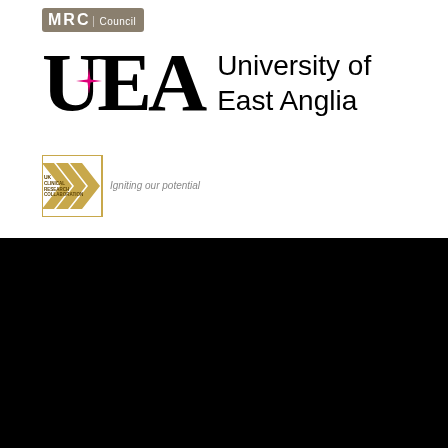[Figure (logo): MRC Medical Research Council logo badge in taupe/brown colour]
[Figure (logo): University of East Anglia logo with UEA monogram and pink star, next to text 'University of East Anglia']
[Figure (logo): UK Clinical Research Collaboration logo with gold chevrons and text 'Igniting our potential']
[Figure (logo): University of Cambridge shield crest logo with text UNIVERSITY OF CAMBRIDGE in white on black background]
© 2019 University of Cambridge
University A-Z
Contact the University
Accessibility
Freedom of information
Terms and conditions